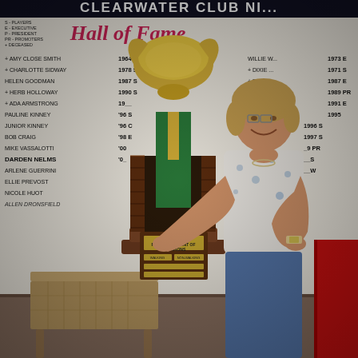[Figure (photo): A woman smiling and holding a large trophy (FSA Tournament of Champions) in front of a Clearwater Club Hall of Fame wall listing inductees and years. A table/stool is in the foreground lower left. A red flag is partially visible at lower right.]